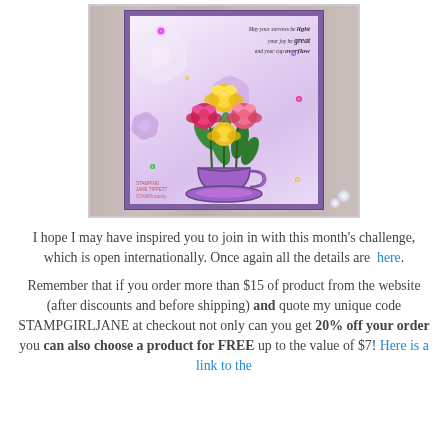[Figure (photo): A handmade greeting card featuring a teacup filled with colorful roses (yellow and pink/red) on a purple mat, with large flower silhouettes in the background and decorative sequins. A sentiment reads 'May your sorrows be light, your joy be great and your cup overflow'. Displayed against a wooden background.]
I hope I may have inspired you to join in with this month's challenge, which is open internationally. Once again all the details are here.
Remember that if you order more than $15 of product from the website (after discounts and before shipping) and quote my unique code STAMPGIRLJANE at checkout not only can you get 20% off your order you can also choose a product for FREE up to the value of $7! Here is a link to the